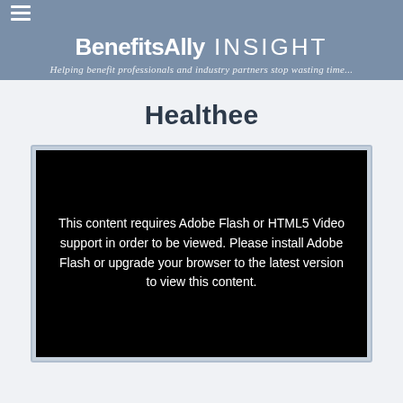BenefitsAlly INSIGHT — Helping benefit professionals and industry partners stop wasting time...
Healthee
[Figure (screenshot): Black video player area showing error message: 'This content requires Adobe Flash or HTML5 Video support in order to be viewed. Please install Adobe Flash or upgrade your browser to the latest version to view this content.']